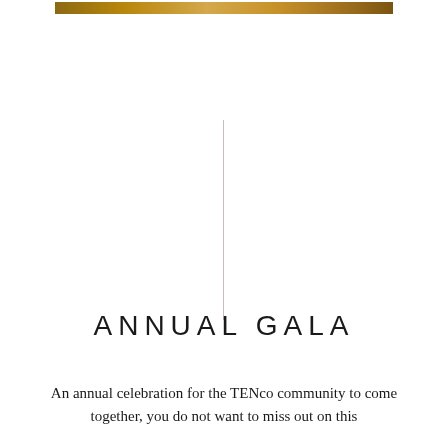[Figure (illustration): Decorative horizontal gold/bronze gradient bar at the top of the page]
[Figure (illustration): Thin vertical light gray decorative line in the center of the page]
ANNUAL GALA
An annual celebration for the TENco community to come together, you do not want to miss out on this